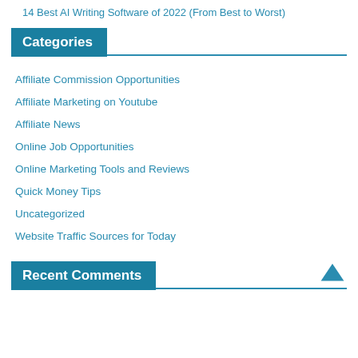14 Best AI Writing Software of 2022 (From Best to Worst)
Categories
Affiliate Commission Opportunities
Affiliate Marketing on Youtube
Affiliate News
Online Job Opportunities
Online Marketing Tools and Reviews
Quick Money Tips
Uncategorized
Website Traffic Sources for Today
Recent Comments